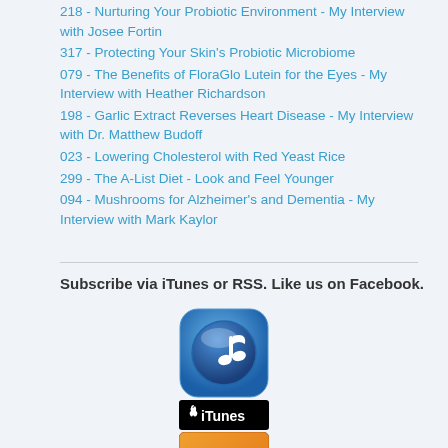218 - Nurturing Your Probiotic Environment - My Interview with Josee Fortin
317 - Protecting Your Skin's Probiotic Microbiome
079 - The Benefits of FloraGlo Lutein for the Eyes - My Interview with Heather Richardson
198 - Garlic Extract Reverses Heart Disease - My Interview with Dr. Matthew Budoff
023 - Lowering Cholesterol with Red Yeast Rice
299 - The A-List Diet - Look and Feel Younger
094 - Mushrooms for Alzheimer's and Dementia - My Interview with Mark Kaylor
Subscribe via iTunes or RSS. Like us on Facebook.
[Figure (logo): iTunes music note icon - blue rounded square with musical note]
[Figure (logo): iTunes badge - black and white iTunes logo with Apple symbol]
[Figure (logo): RSS feed icon - orange square with white wifi/signal arcs]